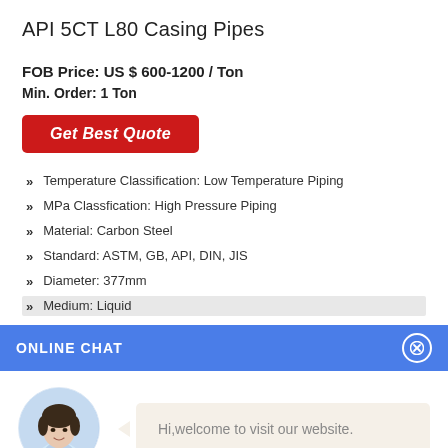API 5CT L80 Casing Pipes
FOB Price: US $ 600-1200 / Ton
Min. Order: 1 Ton
Get Best Quote
Temperature Classification: Low Temperature Piping
MPa Classfication: High Pressure Piping
Material: Carbon Steel
Standard: ASTM, GB, API, DIN, JIS
Diameter: 377mm
Medium: Liquid
ONLINE CHAT
[Figure (illustration): Avatar of a female customer service representative named Cilina]
Cilina
Hi,welcome to visit our website.